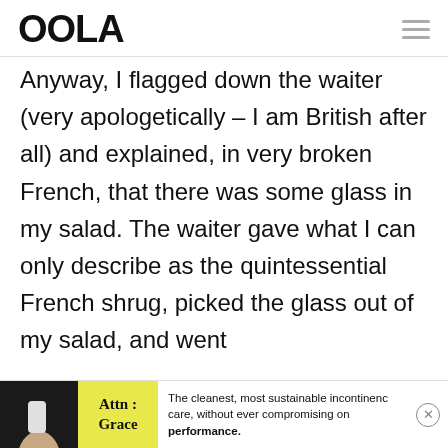OOLA
Anyway, I flagged down the waiter (very apologetically – I am British after all) and explained, in very broken French, that there was some glass in my salad. The waiter gave what I can only describe as the quintessential French shrug, picked the glass out of my salad, and went
[Figure (other): Advertisement banner at bottom: Attn: Grace brand with text 'The cleanest, most sustainable incontinence care, without ever compromising on performance.']